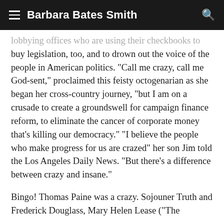Barbara Bates Smith
lobbying offices who are using their checkbooks to buy legislation, too, and to drown out the voice of the people in American politics. "Call me crazy, call me God-sent," proclaimed this feisty octogenarian as she began her cross-country journey, "but I am on a crusade to create a groundswell for campaign finance reform, to eliminate the cancer of corporate money that's killing our democracy." "I believe the people who make progress for us are crazed" her son Jim told the Los Angeles Daily News. "But there's a difference between crazy and insane."
Bingo! Thomas Paine was a crazy. Sojouner Truth and Frederick Douglass, Mary Helen Lease ("The